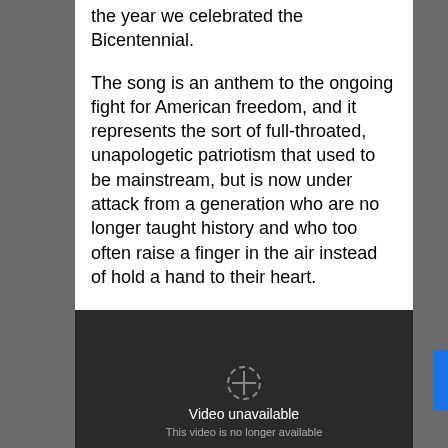the year we celebrated the Bicentennial.
The song is an anthem to the ongoing fight for American freedom, and it represents the sort of full-throated, unapologetic patriotism that used to be mainstream, but is now under attack from a generation who are no longer taught history and who too often raise a finger in the air instead of hold a hand to their heart.
[Figure (screenshot): Embedded video player showing 'Video unavailable — This video is no longer available' message on a dark background.]